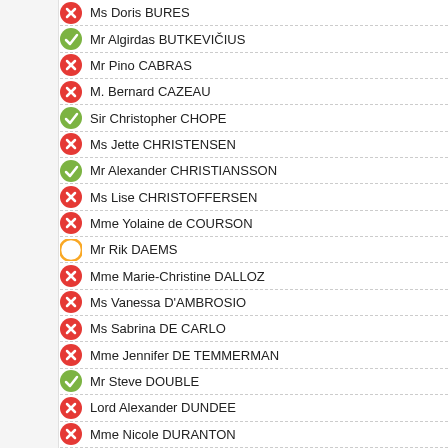Ms Doris BURES
Mr Algirdas BUTKEVIČIUS
Mr Pino CABRAS
M. Bernard CAZEAU
Sir Christopher CHOPE
Ms Jette CHRISTENSEN
Mr Alexander CHRISTIANSSON
Ms Lise CHRISTOFFERSEN
Mme Yolaine de COURSON
Mr Rik DAEMS
Mme Marie-Christine DALLOZ
Ms Vanessa D'AMBROSIO
Ms Sabrina DE CARLO
Mme Jennifer DE TEMMERMAN
Mr Steve DOUBLE
Lord Alexander DUNDEE
Mme Nicole DURANTON